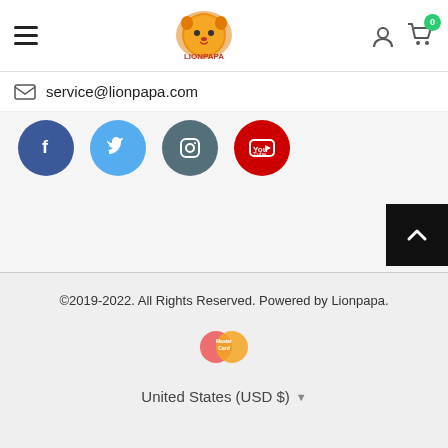[Figure (logo): Lionpapa logo with lion face and text]
service@lionpapa.com
[Figure (infographic): Social media icons: Facebook, Twitter, Instagram, YouTube]
[Figure (illustration): Back to top button (black square with up arrow)]
©2019-2022. All Rights Reserved. Powered by Lionpapa.
[Figure (logo): Mastercard payment logo]
United States (USD $)